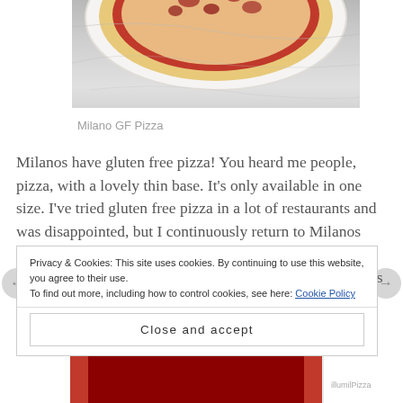[Figure (photo): Top portion of a pizza on a plate, viewed from above, on a marble/stone surface. Only the upper part of the circular plate and pizza is visible, cropped at the top.]
Milano GF Pizza
Milanos have gluten free pizza! You heard me people, pizza, with a lovely thin base. It’s only available in one size. I’ve tried gluten free pizza in a lot of restaurants and was disappointed, but I continuously return to Milanos because it’s tasty and handy in terms of locations dotted around Dublin and the thin base means less calories..that’s
Privacy & Cookies: This site uses cookies. By continuing to use this website, you agree to their use.
To find out more, including how to control cookies, see here: Cookie Policy
Close and accept